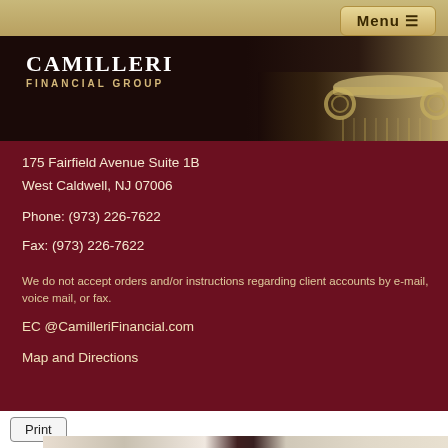Menu ≡
[Figure (logo): Camilleri Financial Group logo with decorative column on dark background]
175 Fairfield Avenue Suite 1B
West Caldwell, NJ 07006

Phone: (973) 226-7622

Fax: (973) 226-7622

We do not accept orders and/or instructions regarding client accounts by e-mail, voice mail, or fax.

EC @CamilleriFinancial.com

Map and Directions
[Figure (photo): Print button and photo of two people in an office setting]